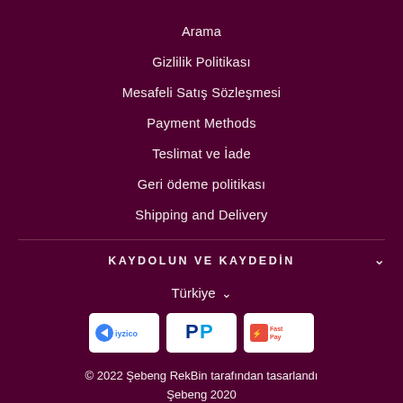Arama
Gizlilik Politikası
Mesafeli Satış Sözleşmesi
Payment Methods
Teslimat ve İade
Geri ödeme politikası
Shipping and Delivery
KAYDOLUN VE KAYDEDİN
Türkiye
[Figure (other): Payment method logos: iyzico, PayPal, FastPay]
© 2022 Şebeng RekBin tarafından tasarlandı Şebeng 2020